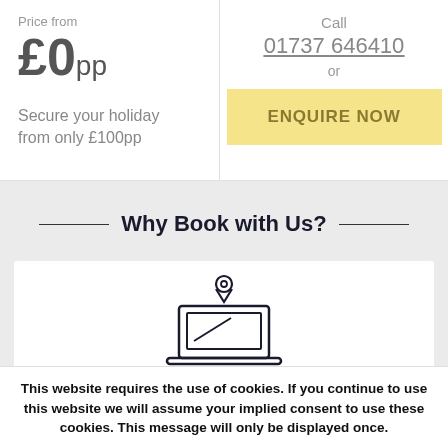Price from
£0pp
Secure your holiday from only £100pp
Call
01737 646410
or
ENQUIRE NOW
Why Book with Us?
[Figure (illustration): Icon of a laptop with a location pin on the screen]
This website requires the use of cookies. If you continue to use this website we will assume your implied consent to use these cookies. This message will only be displayed once.